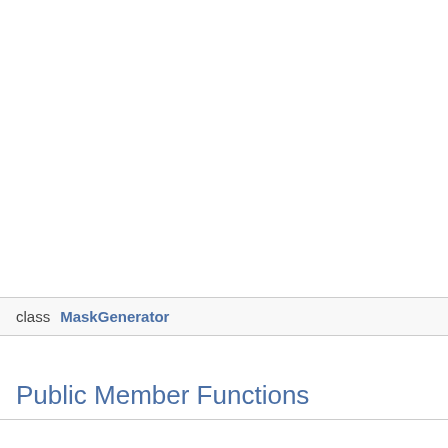class MaskGenerator
Public Member Functions